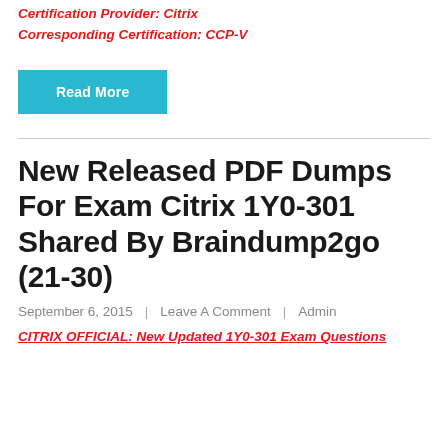Certification Provider: Citrix
Corresponding Certification: CCP-V
[Figure (other): Read More button (teal/cyan background, white text)]
New Released PDF Dumps For Exam Citrix 1Y0-301 Shared By Braindump2go (21-30)
September 6, 2015  |  Leave A Comment  |  Admin
CITRIX OFFICIAL: New Updated 1Y0-301 Exam Questions